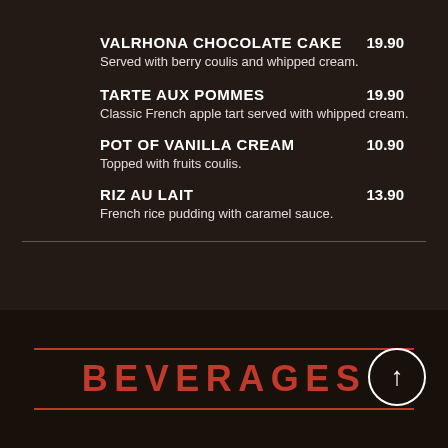VALRHONA CHOCOLATE CAKE  19.90
Served with berry coulis and whipped cream.
TARTE AUX POMMES  19.90
Classic French apple tart served with whipped cream.
POT OF VANILLA CREAM  10.90
Topped with fruits coulis.
RIZ AU LAIT  13.90
French rice pudding with caramel sauce.
BEVERAGES